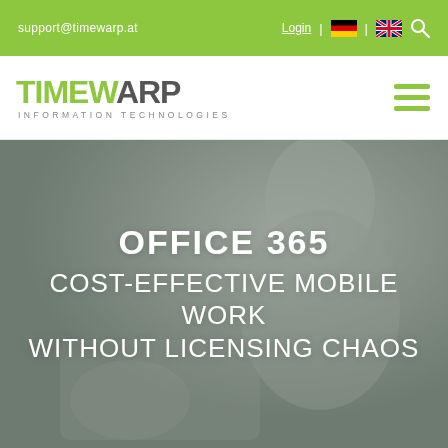support@timewarp.at   Login | [DE flag] | [UK flag] [search]
[Figure (logo): TIMEWARP Information Technologies logo with green TIMEWARP text and grey INFORMATION TECHNOLOGIES subtitle]
[Figure (photo): Greyed-out background photo of a person working on a tablet/mobile device, used as hero banner background]
OFFICE 365
COST-EFFECTIVE MOBILE WORK WITHOUT LICENSING CHAOS